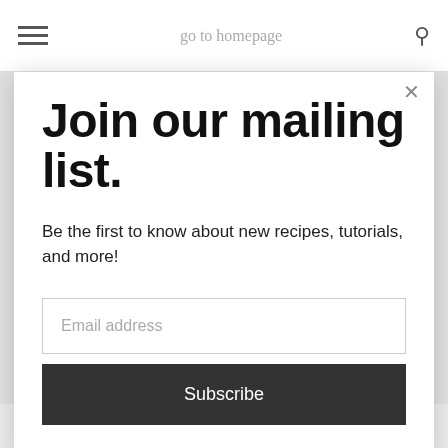go to homepage
Join our mailing list.
Be the first to know about new recipes, tutorials, and more!
Email address
Subscribe
butterbeer (Frozen or Hot). This copycat recipe